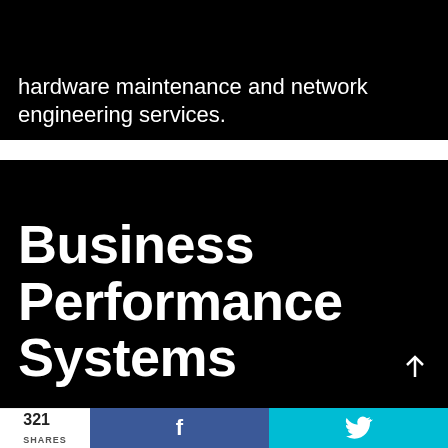hardware maintenance and network engineering services.
Business Performance Systems
321 SHARES
[Figure (other): Facebook share button (blue bar with f icon)]
[Figure (other): Twitter share button (cyan bar with bird icon)]